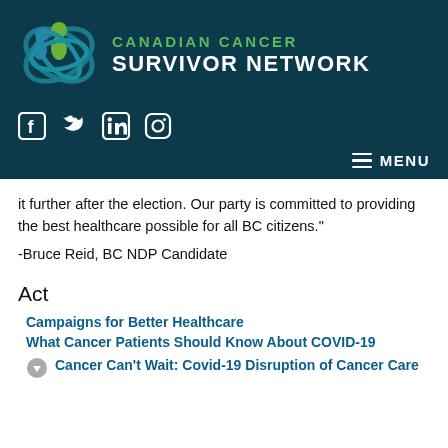[Figure (logo): Canadian Cancer Survivor Network logo with teal background, stylized figures icon, green and white text]
[Figure (infographic): Social media icons: Facebook, Twitter, LinkedIn, Instagram on dark teal background]
[Figure (infographic): Hamburger menu icon with MENU text on dark teal background]
it further after the election. Our party is committed to providing the best healthcare possible for all BC citizens."
-Bruce Reid, BC NDP Candidate
Act
Campaigns for Better Healthcare
What Cancer Patients Should Know About COVID-19
Cancer Can't Wait: Covid-19 Disruption of Cancer Care